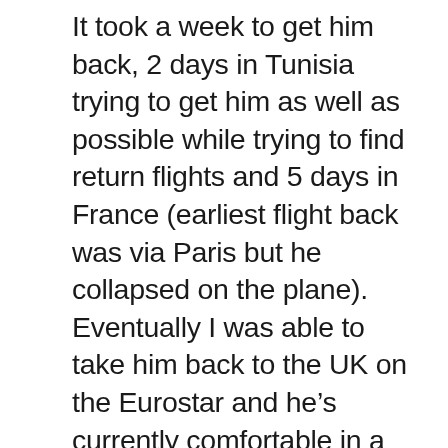It took a week to get him back, 2 days in Tunisia trying to get him as well as possible while trying to find return flights and 5 days in France (earliest flight back was via Paris but he collapsed on the plane). Eventually I was able to take him back to the UK on the Eurostar and he’s currently comfortable in a UK hospital.
Major thanks to the British Foreign Office and consulates, Nouvelair’s excellent flight crew and the Doctors and Nurses in France and the UK as well as Dad’s friends Hamza and Yvonne who helped him out and contacted us to let us know he was ill. Having my partner Lynne back in the UK able to look up and co-ordinate things was critical to getting out again and my old MacBook Air and